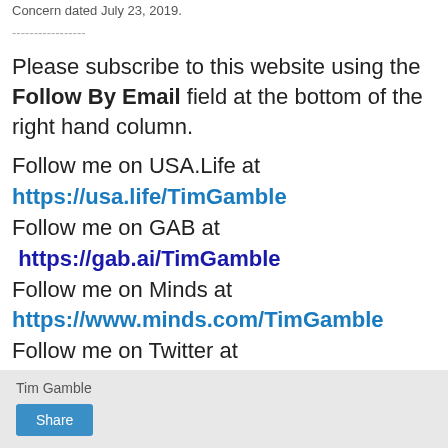Concern dated July 23, 2019.
-----------------
Please subscribe to this website using the Follow By Email field at the bottom of the right hand column.
Follow me on USA.Life at https://usa.life/TimGamble Follow me on GAB at https://gab.ai/TimGamble Follow me on Minds at https://www.minds.com/TimGamble Follow me on Twitter at https://twitter.com/TimGamble
Tim Gamble
Share